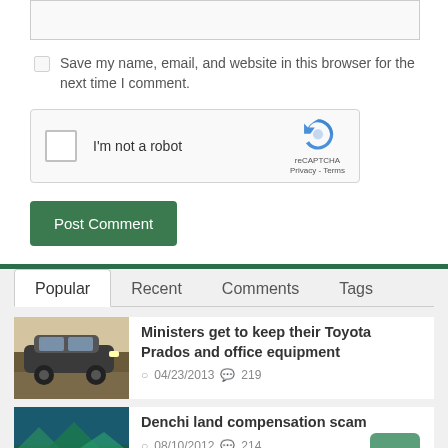[Figure (screenshot): Input text box (partially visible at top)]
Save my name, email, and website in this browser for the next time I comment.
[Figure (screenshot): reCAPTCHA widget with checkbox labeled I'm not a robot, reCAPTCHA logo, Privacy and Terms links]
Post Comment
Popular  Recent  Comments  Tags
Ministers get to keep their Toyota Prados and office equipment
04/23/2013  219
Denchi land compensation scam
08/10/2012  214